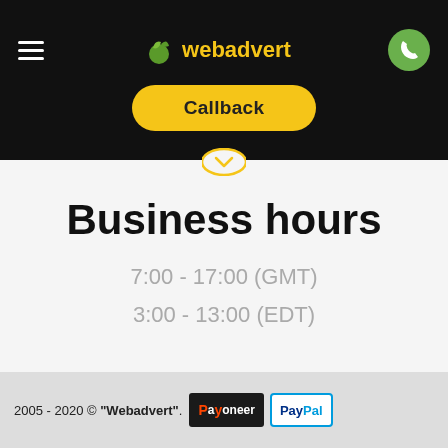webadvert - Callback button - Phone button
Callback
Business hours
7:00 - 17:00 (GMT)
3:00 - 13:00 (EDT)
2005 - 2020 © "Webadvert". [Payoneer] [PayPal]